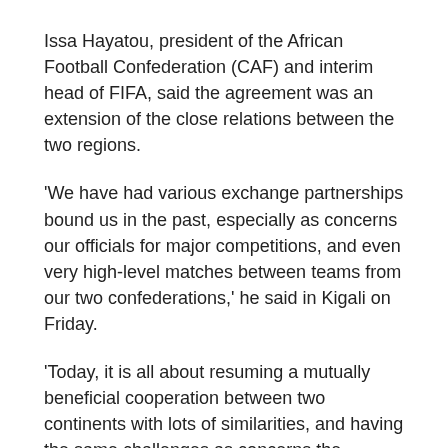Issa Hayatou, president of the African Football Confederation (CAF) and interim head of FIFA, said the agreement was an extension of the close relations between the two regions.
'We have had various exchange partnerships bound us in the past, especially as concerns our officials for major competitions, and even very high-level matches between teams from our two confederations,' he said in Kigali on Friday.
'Today, it is all about resuming a mutually beneficial cooperation between two continents with lots of similarities, and having the same challenges as concerns the development of football.
'We strongly hope that the first four years of the execution of this memo of understanding will